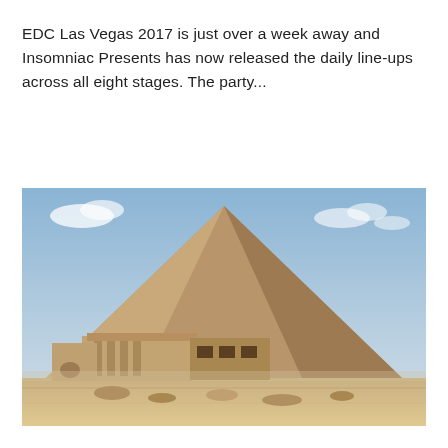EDC Las Vegas 2017 is just over a week away and Insomniac Presents has now released the daily line-ups across all eight stages. The party...
[Figure (photo): Photograph of the Great Pyramid of Giza with a smaller ancient Egyptian temple or tomb structure in the foreground, sandy desert ground, and a partly cloudy blue sky in the background.]